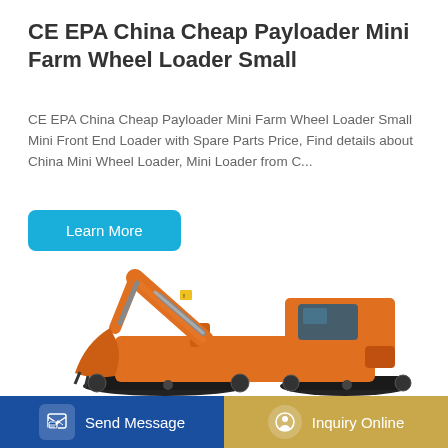CE EPA China Cheap Payloader Mini Farm Wheel Loader Small
CE EPA China Cheap Payloader Mini Farm Wheel Loader Small Mini Front End Loader with Spare Parts Price, Find details about China Mini Wheel Loader, Mini Loader from C...
Learn More
[Figure (photo): Orange Doosan excavator with extended arm and bucket, shown on a white background]
Send Message
Inquiry Online